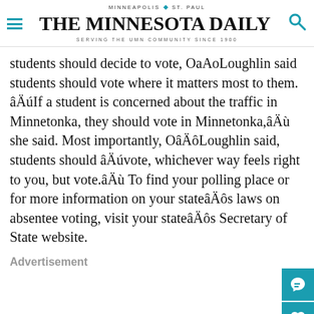MINNEAPOLIS | ST. PAUL — THE MINNESOTA DAILY — SERVING THE UMN COMMUNITY SINCE 1900
students should decide to vote, OaAoLoughlin said students should vote where it matters most to them. âÄúIf a student is concerned about the traffic in Minnetonka, they should vote in Minnetonka,âÄù she said. Most importantly, OâÄôLoughlin said, students should âÄúvote, whichever way feels right to you, but vote.âÄù To find your polling place or for more information on your stateâÄôs laws on absentee voting, visit your stateâÄôs Secretary of State website.
Advertisement